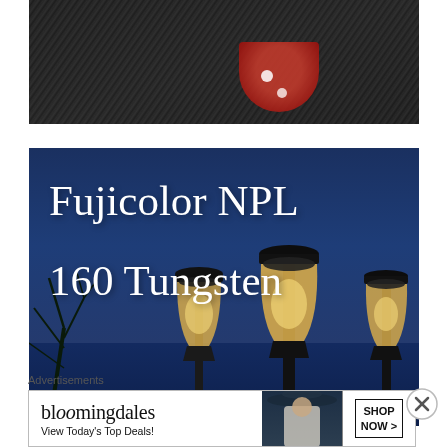[Figure (photo): Top partial photo showing dark clothing with a red and white element, cropped at the bottom]
[Figure (photo): Photo of street lamp posts against a deep blue night sky with tree branches, overlaid with white serif text reading 'Fujicolor NPL 160 Tungsten']
Advertisements
[Figure (photo): Bloomingdale's advertisement banner with logo, tagline 'View Today's Top Deals!', model in hat, and 'SHOP NOW >' button]